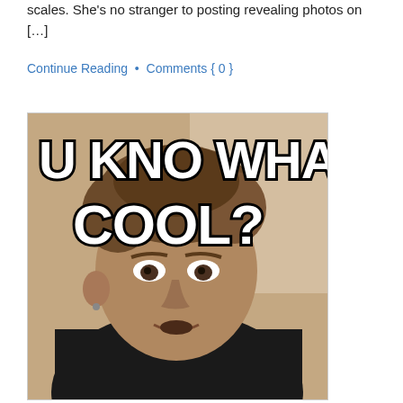scales. She's no stranger to posting revealing photos on [...]
Continue Reading  •  Comments { 0 }
[Figure (photo): Meme image of a young man with text 'U KNO WHATS COOL?' overlaid in large white Impact font with black outline]